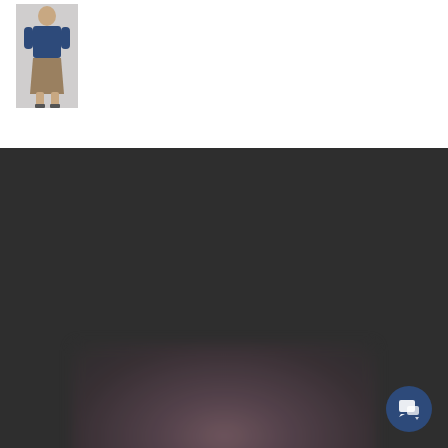[Figure (photo): Small product photo thumbnail of a person wearing a navy top and khaki skirt, positioned in the top-left corner on a white background]
[Figure (photo): Blurred/obscured image area in the dark lower section, appearing to show a blurred product or fashion item with dark reddish-brown tones]
Organic fashion, hand crafted with ♥ in Eugene, Oregon.
SWEET SKINS HEMP